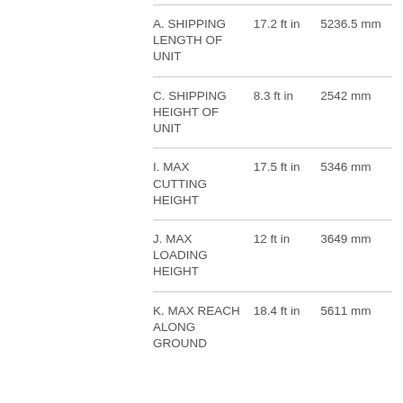|  |  |  |
| --- | --- | --- |
| A. SHIPPING LENGTH OF UNIT | 17.2 ft in | 5236.5 mm |
| C. SHIPPING HEIGHT OF UNIT | 8.3 ft in | 2542 mm |
| I. MAX CUTTING HEIGHT | 17.5 ft in | 5346 mm |
| J. MAX LOADING HEIGHT | 12 ft in | 3649 mm |
| K. MAX REACH ALONG GROUND | 18.4 ft in | 5611 mm |